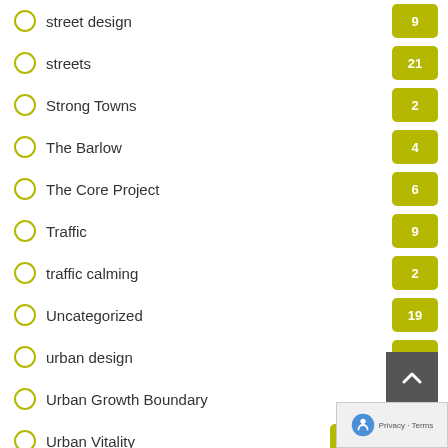street design
streets
Strong Towns
The Barlow
The Core Project
Traffic
traffic calming
Uncategorized
urban design
Urban Growth Boundary
Urban Vitality
vision
Walk and Roll to School